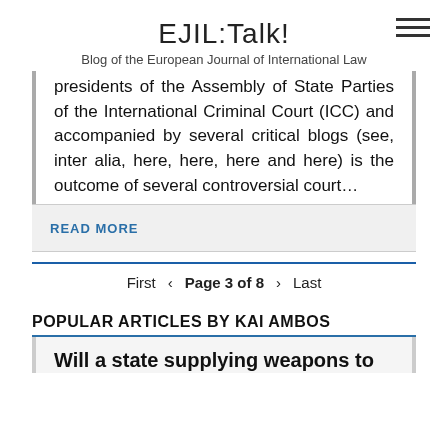EJIL:Talk!
Blog of the European Journal of International Law
presidents of the Assembly of State Parties of the International Criminal Court (ICC) and accompanied by several critical blogs (see, inter alia, here, here, here and here) is the outcome of several controversial court…
READ MORE
First  <  Page 3 of 8  >  Last
POPULAR ARTICLES BY KAI AMBOS
Will a state supplying weapons to